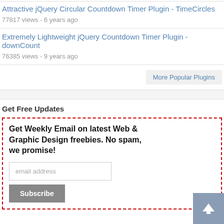77817 views - 6 years ago
Attractive jQuery Circular Countdown Timer Plugin - TimeCircles
77817 views - 6 years ago
Extremely Lightweight jQuery Countdown Timer Plugin - downCount
76385 views - 9 years ago
More Popular Plugins
Get Free Updates
Get Weekly Email on latest Web & Graphic Design freebies. No spam, we promise!
email address
Subscribe